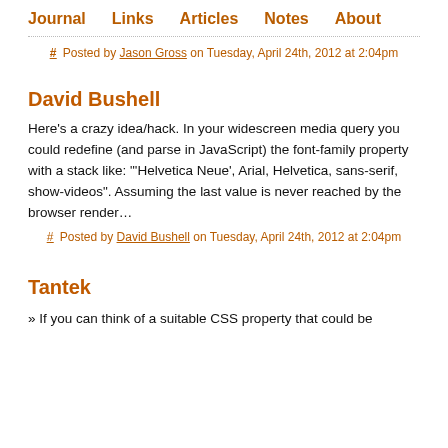Journal   Links   Articles   Notes   About
# Posted by Jason Gross on Tuesday, April 24th, 2012 at 2:04pm
David Bushell
Here's a crazy idea/hack. In your widescreen media query you could redefine (and parse in JavaScript) the font-family property with a stack like: "'Helvetica Neue', Arial, Helvetica, sans-serif, show-videos". Assuming the last value is never reached by the browser render…
# Posted by David Bushell on Tuesday, April 24th, 2012 at 2:04pm
Tantek
» If you can think of a suitable CSS property that could be